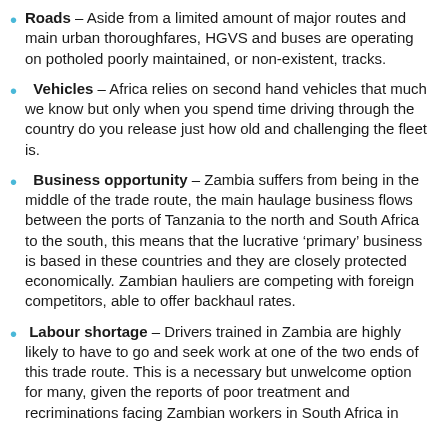Roads – Aside from a limited amount of major routes and main urban thoroughfares, HGVS and buses are operating on potholed poorly maintained, or non-existent, tracks.
Vehicles – Africa relies on second hand vehicles that much we know but only when you spend time driving through the country do you release just how old and challenging the fleet is.
Business opportunity – Zambia suffers from being in the middle of the trade route, the main haulage business flows between the ports of Tanzania to the north and South Africa to the south, this means that the lucrative 'primary' business is based in these countries and they are closely protected economically. Zambian hauliers are competing with foreign competitors, able to offer backhaul rates.
Labour shortage – Drivers trained in Zambia are highly likely to have to go and seek work at one of the two ends of this trade route. This is a necessary but unwelcome option for many, given the reports of poor treatment and recriminations facing Zambian workers in South Africa in